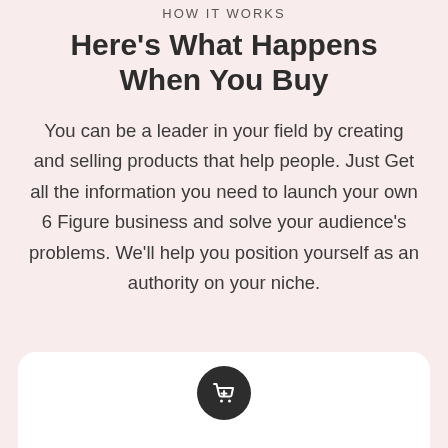HOW IT WORKS
Here's What Happens When You Buy
You can be a leader in your field by creating and selling products that help people. Just Get all the information you need to launch your own 6 Figure business and solve your audience's problems. We'll help you position yourself as an authority on your niche.
[Figure (illustration): White card with a dark circular shopping cart icon at the top center]